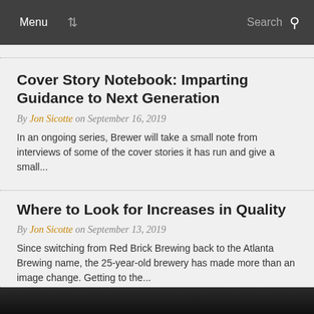Menu  Search
Cover Story Notebook: Imparting Guidance to Next Generation
By Jon Sicotte on September 16, 2019
In an ongoing series, Brewer will take a small note from interviews of some of the cover stories it has run and give a small...
Where to Look for Increases in Quality
By Jon Sicotte on September 13, 2019
Since switching from Red Brick Brewing back to the Atlanta Brewing name, the 25-year-old brewery has made more than an image change. Getting to the...
[Figure (photo): Dark photo strip visible at bottom of page]